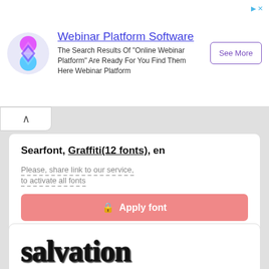[Figure (screenshot): Webinar Platform Software advertisement banner with colorful diamond logo, heading, body text, and 'See More' button]
Searfont, Graffiti(12 fonts), en
Please, share link to our service, to activate all fonts
Apply font
[Figure (illustration): Word 'salvation' in grunge/trash style font]
SALVATIO, Trash(42 fonts), en